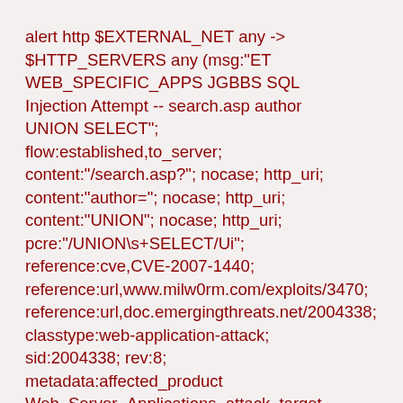alert http $EXTERNAL_NET any -> $HTTP_SERVERS any (msg:"ET WEB_SPECIFIC_APPS JGBBS SQL Injection Attempt -- search.asp author UNION SELECT"; flow:established,to_server; content:"/search.asp?"; nocase; http_uri; content:"author="; nocase; http_uri; content:"UNION"; nocase; http_uri; pcre:"/UNION\s+SELECT/Ui"; reference:cve,CVE-2007-1440; reference:url,www.milw0rm.com/exploits/3470; reference:url,doc.emergingthreats.net/2004338; classtype:web-application-attack; sid:2004338; rev:8; metadata:affected_product Web_Server_Applications, attack_target Web_Server, created_at 2010_07_30, deployment Datacenter, signature_severity Major, tag SQL_Injection, updated_at